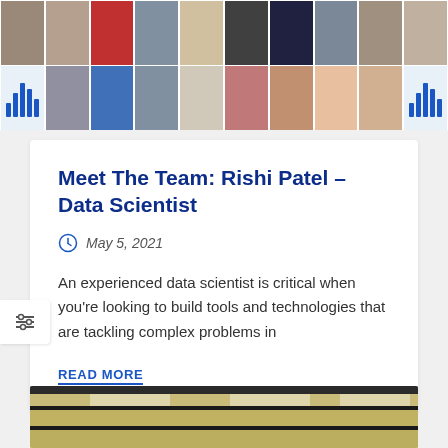[Figure (photo): Two rows of headshot photos of team members arranged in a grid, with audio waveform icons on left and right ends of the second row]
Meet The Team: Rishi Patel – Data Scientist
May 5, 2021
An experienced data scientist is critical when you're looking to build tools and technologies that are tackling complex problems in
READ MORE
[Figure (photo): Partial view of a ceiling with structural beams and lighting panels]